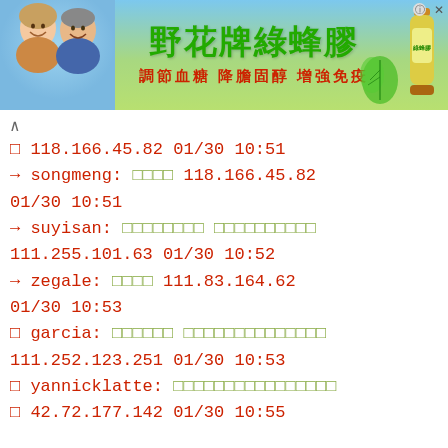[Figure (illustration): Advertisement banner for 野花牌綠蜂膠 (Wild Flower Brand Green Propolis) with two elderly people smiling on the left, Chinese text in green and red, and product bottles on the right]
118.166.45.82 01/30 10:51
→ songmeng: □□□□  118.166.45.82 01/30 10:51
→ suyisan: □□□□□□□□ □□□□□□□□□□ 111.255.101.63 01/30 10:52
→ zegale: □□□□  111.83.164.62 01/30 10:53
□ garcia: □□□□□□ □□□□□□□□□□□□□□ 111.252.123.251 01/30 10:53
□ yannicklatte: □□□□□□□□□□□□□□□□ □ 42.72.177.142 01/30 10:55